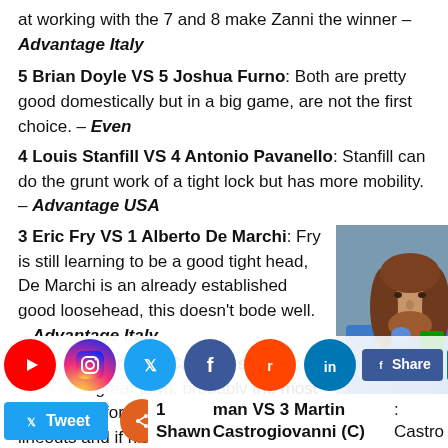at working with the 7 and 8 make Zanni the winner – Advantage Italy
5 Brian Doyle VS 5 Joshua Furno: Both are pretty good domestically but in a big game, are not the first choice. – Even
4 Louis Stanfill VS 4 Antonio Pavanello: Stanfill can do the grunt work of a tight lock but has more mobility. – Advantage USA
3 Eric Fry VS 1 Alberto De Marchi: Fry is still learning to be a good tight head, De Marchi is an already established good loosehead, this doesn't bode well. – Advantage Italy
2 Chris Biller VS 2 Carlo Festuccia: Biller is in great form, probably the most in-form US forward he will do well in the lineouts and if his props don't support sometimes he might be able to do his job. – Advantage USA
[Figure (photo): Photo of Martin Castrogiovanni, Italian rugby player, wearing a blue Italy jersey with CARIPARMA sponsor, long hair and beard.]
Martin Castrogiovanni
1 Shawn Pittman VS 3 Martin Castrogiovanni (C): Castro